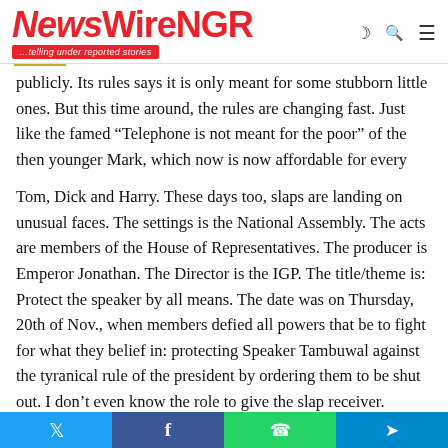NewsWireNGR ...telling under reported stories
publicly. Its rules says it is only meant for some stubborn little ones. But this time around, the rules are changing fast. Just like the famed “Telephone is not meant for the poor” of the then younger Mark, which now is now affordable for every
Tom, Dick and Harry. These days too, slaps are landing on unusual faces. The settings is the National Assembly. The acts are members of the House of Representatives. The producer is Emperor Jonathan. The Director is the IGP. The title/theme is: Protect the speaker by all means. The date was on Thursday, 20th of Nov., when members defied all powers that be to fight for what they belief in: protecting Speaker Tambuwal against the tyranical rule of the president by ordering them to be shut out. I don’t even know the role to give the slap receiver.
Social share bar: Twitter, Facebook, WhatsApp, Telegram